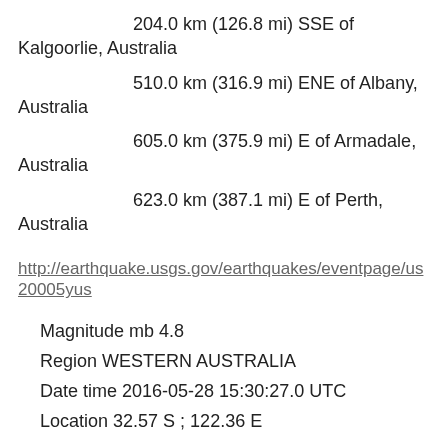204.0 km (126.8 mi) SSE of Kalgoorlie, Australia
510.0 km (316.9 mi) ENE of Albany, Australia
605.0 km (375.9 mi) E of Armadale, Australia
623.0 km (387.1 mi) E of Perth, Australia
http://earthquake.usgs.gov/earthquakes/eventpage/us20005yus
Magnitude mb 4.8
Region WESTERN AUSTRALIA
Date time 2016-05-28 15:30:27.0 UTC
Location 32.57 S ; 122.36 E